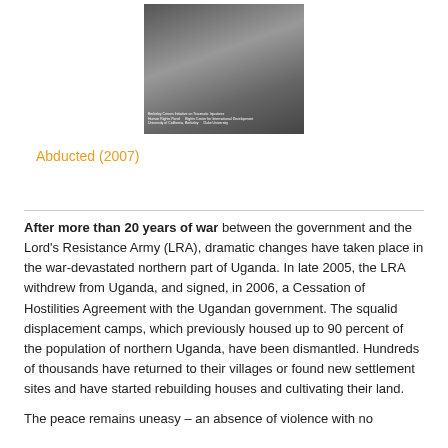[Figure (photo): Black and white photograph of a young person, likely a child soldier or conflict victim, seated and looking at the camera. Small text overlay at the bottom of the image with publication/report details.]
Abducted (2007)
After more than 20 years of war between the government and the Lord's Resistance Army (LRA), dramatic changes have taken place in the war-devastated northern part of Uganda. In late 2005, the LRA withdrew from Uganda, and signed, in 2006, a Cessation of Hostilities Agreement with the Ugandan government. The squalid displacement camps, which previously housed up to 90 percent of the population of northern Uganda, have been dismantled. Hundreds of thousands have returned to their villages or found new settlement sites and have started rebuilding houses and cultivating their land.
The peace remains uneasy – an absence of violence with no